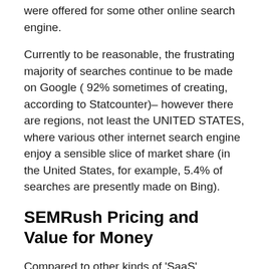were offered for some other online search engine.
Currently to be reasonable, the frustrating majority of searches continue to be made on Google ( 92% sometimes of creating, according to Statcounter)– however there are regions, not least the UNITED STATES, where various other internet search engine enjoy a sensible slice of market share (in the United States, for example, 5.4% of searches are presently made on Bing).
SEMRush Pricing and Value for Money
Compared to other kinds of 'SaaS' (software application as a solution) applications, SEO